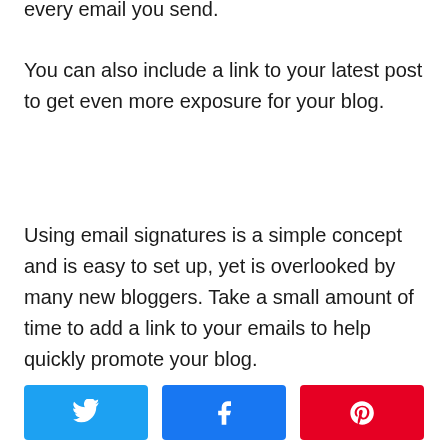every email you send.
You can also include a link to your latest post to get even more exposure for your blog.
Using email signatures is a simple concept and is easy to set up, yet is overlooked by many new bloggers. Take a small amount of time to add a link to your emails to help quickly promote your blog.
[Figure (other): Social share buttons: Twitter (blue), Facebook (dark blue), Pinterest (red)]